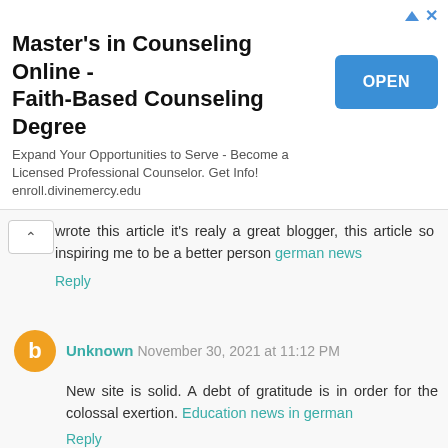[Figure (screenshot): Advertisement banner for Master's in Counseling Online - Faith-Based Counseling Degree with OPEN button]
wrote this article it’s realy a great blogger, this article so inspiring me to be a better person german news
Reply
Unknown November 30, 2021 at 11:12 PM
New site is solid. A debt of gratitude is in order for the colossal exertion. Education news in german
Reply
Unknown November 30, 2021 at 11:18 PM
Thankyou for this wondrous post, I am happy I watched this site on yippee